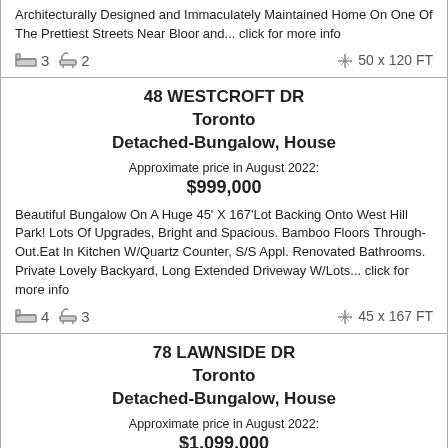Architecturally Designed and Immaculately Maintained Home On One Of The Prettiest Streets Near Bloor and... click for more info
3  2  50 x 120 FT
48 WESTCROFT DR
Toronto
Detached-Bungalow, House
Approximate price in August 2022:
$999,000
Beautiful Bungalow On A Huge 45' X 167'Lot Backing Onto West Hill Park! Lots Of Upgrades, Bright and Spacious. Bamboo Floors Through-Out.Eat In Kitchen W/Quartz Counter, S/S Appl. Renovated Bathrooms. Private Lovely Backyard, Long Extended Driveway W/Lots... click for more info
4  3  45 x 167 FT
78 LAWNSIDE DR
Toronto
Detached-Bungalow, House
Approximate price in August 2022:
$1,099,000
Charming Bungalow On A 50'X120' Premium Lot In A Superb Neighborhood. This Beautiful Family Home Is In The Sought After Area Of Maple Leaf Park. A Functional, Open Concept Layout, In Bright and Meticulously Maintained Home. Featuring Hardwood Floors On... click for more info